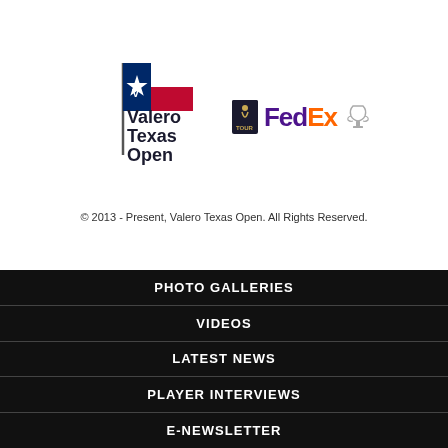[Figure (logo): Valero Texas Open logo with Texas flag on golf pin and PGA FedEx Cup logos]
© 2013 - Present, Valero Texas Open. All Rights Reserved.
PHOTO GALLERIES
VIDEOS
LATEST NEWS
PLAYER INTERVIEWS
E-NEWSLETTER